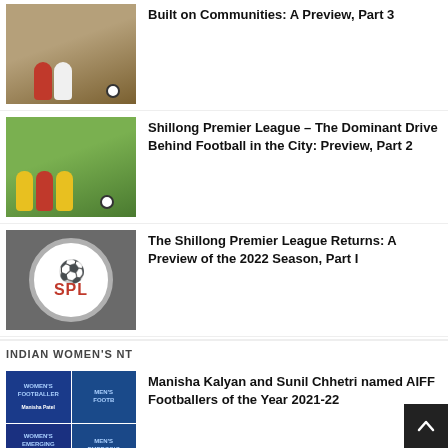[Figure (photo): Soccer players in action on a dirt field, one in red jersey, one in white]
Built on Communities: A Preview, Part 3
[Figure (photo): Soccer players in colorful yellow and red jerseys competing on a green field]
Shillong Premier League – The Dominant Drive Behind Football in the City: Preview, Part 2
[Figure (logo): Shillong Premier League (SPL) logo with soccer ball and red SPL text on gray background]
The Shillong Premier League Returns: A Preview of the 2022 Season, Part I
INDIAN WOMEN'S NT
[Figure (photo): AIFF award collage grid with Women's Footballer, Men's Footballer, Women's Emerging Footballer, Men's Emerging Footballer categories]
Manisha Kalyan and Sunil Chhetri named AIFF Footballers of the Year 2021-22
[Figure (photo): Partial photo at bottom of page]
Sacked Indian U-17 Women's Team Co